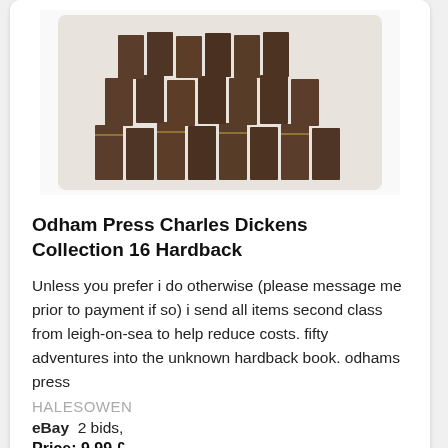[Figure (photo): Stack of brown hardback books — Odham Press Charles Dickens collection, 16 volumes arranged in rows]
Odham Press Charles Dickens Collection 16 Hardback
Unless you prefer i do otherwise (please message me prior to payment if so) i send all items second class from leigh-on-sea to help reduce costs. fifty adventures into the unknown hardback book. odhams press
HALESOWEN
eBay  2 bids,
Price: 9.99 £
Product condition: Used
See details